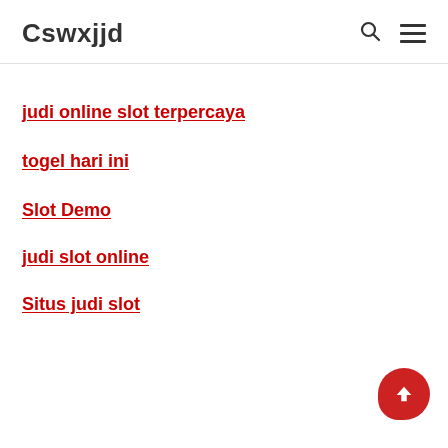Cswxjjd
judi online slot terpercaya
togel hari ini
Slot Demo
judi slot online
Situs judi slot